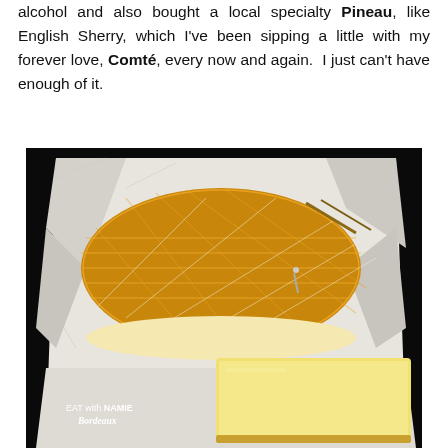alcohol and also bought a local specialty Pineau, like English Sherry, which I've been sipping a little with my forever love, Comté, every now and again.  I just can't have enough of it.
[Figure (photo): A photograph of two French cheeses unwrapped on white wax paper: an orange-rind washed rind cheese (top) and a block of Comté (bottom), with a watermark reading 'EAT with NAMIE Bordeaux' in the lower left corner of the image.]